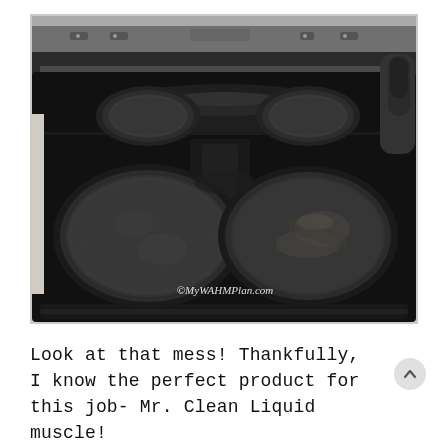[Figure (photo): A black glass ceramic stovetop with four burners visible. Two large front burners and two smaller rear burners. The stovetop surface looks dirty/messy. A watermark '©MyWAHMPlan.com' appears in the lower right of the photo. The back of the stove shows stainless steel controls.]
Look at that mess! Thankfully, I know the perfect product for this job- Mr. Clean Liquid muscle!